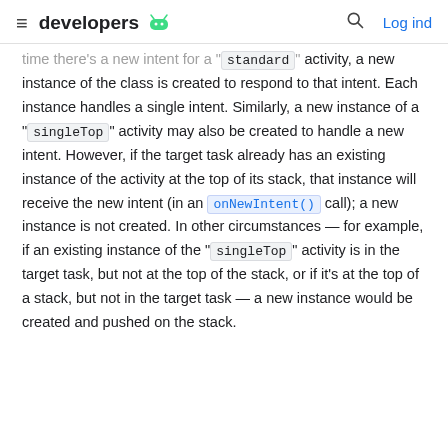≡ developers [android logo] 🔍 Log ind
time there's a new intent for a "standard" activity, a new instance of the class is created to respond to that intent. Each instance handles a single intent. Similarly, a new instance of a "singleTop" activity may also be created to handle a new intent. However, if the target task already has an existing instance of the activity at the top of its stack, that instance will receive the new intent (in an onNewIntent() call); a new instance is not created. In other circumstances — for example, if an existing instance of the "singleTop" activity is in the target task, but not at the top of the stack, or if it's at the top of a stack, but not in the target task — a new instance would be created and pushed on the stack.